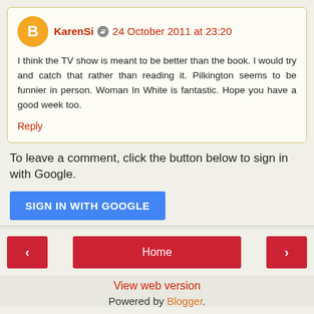KarenSi  24 October 2011 at 23:20
I think the TV show is meant to be better than the book. I would try and catch that rather than reading it. Pilkington seems to be funnier in person. Woman In White is fantastic. Hope you have a good week too.
Reply
To leave a comment, click the button below to sign in with Google.
SIGN IN WITH GOOGLE
Home
View web version
Powered by Blogger.